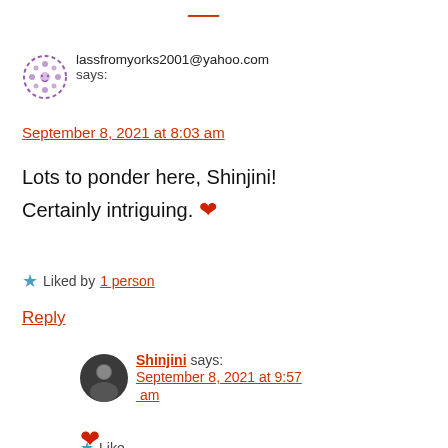lassfromyorks2001@yahoo.com says:
September 8, 2021 at 8:03 am
Lots to ponder here, Shinjini! Certainly intriguing. ❤
Liked by 1 person
Reply
Shinjini says:
September 8, 2021 at 9:57 am
❤
Like